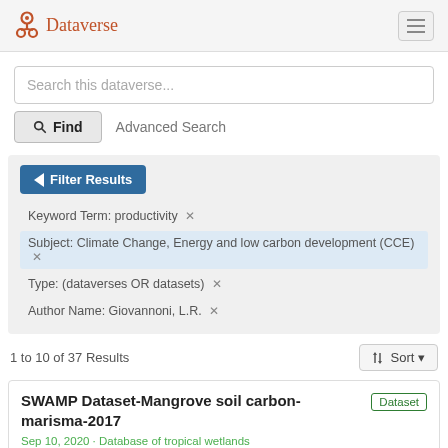Dataverse
Search this dataverse...
Find   Advanced Search
Filter Results
Keyword Term: productivity ✕
Subject: Climate Change, Energy and low carbon development (CCE) ✕
Type: (dataverses OR datasets) ✕
Author Name: Giovannoni, L.R. ✕
1 to 10 of 37 Results
Sort
SWAMP Dataset-Mangrove soil carbon-marisma-2017
Dataset
Sep 10, 2020 · Database of tropical wetlands